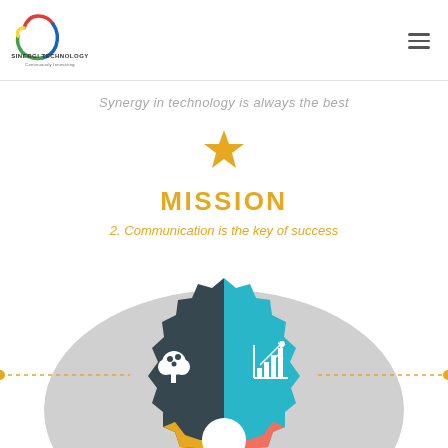[Figure (logo): Sinergi Technology logo with colorful swirl and text 'SINERGI TECHNOLOGY Continuously Innovating']
Synergy in technology is always the best
[Figure (illustration): Golden star icon]
MISSION
2. Communication is the key of success
[Figure (infographic): Gear/cog wheel infographic split into quadrants: dark teal with tree icon, light blue with growth chart icon, yellow/orange section, red/coral section, with a circular center element. Orange dotted lines extending from sides.]